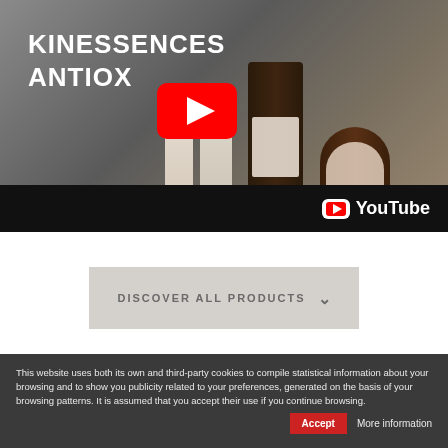[Figure (screenshot): YouTube video thumbnail showing KINESSENCES ANTIOX product line with skincare bottles on a neutral background, with a red YouTube play button overlay]
KINESSENCES ANTIOX
[Figure (logo): YouTube logo in white on black bar at bottom of video]
DISCOVER ALL PRODUCTS
This website uses both its own and third-party cookies to compile statistical information about your browsing and to show you publicity related to your preferences, generated on the basis of your browsing patterns. It is assumed that you accept their use if you continue browsing.
Accept
More information